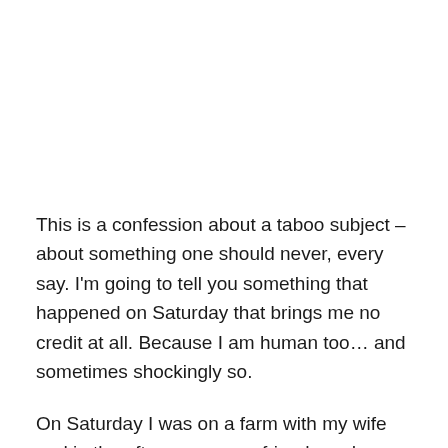This is a confession about a taboo subject – about something one should never, every say. I'm going to tell you something that happened on Saturday that brings me no credit at all. Because I am human too… and sometimes shockingly so.
On Saturday I was on a farm with my wife and in the afternoon some friends and we went for a beautiful walk through the surrounding countryside.
At one point we came to a locked metal gate – just like the